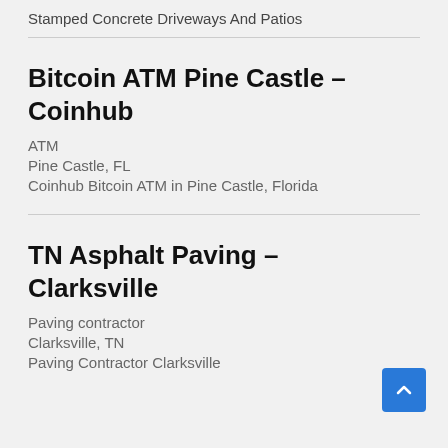Stamped Concrete Driveways And Patios
Bitcoin ATM Pine Castle – Coinhub
ATM
Pine Castle, FL
Coinhub Bitcoin ATM in Pine Castle, Florida
TN Asphalt Paving – Clarksville
Paving contractor
Clarksville, TN
Paving Contractor Clarksville